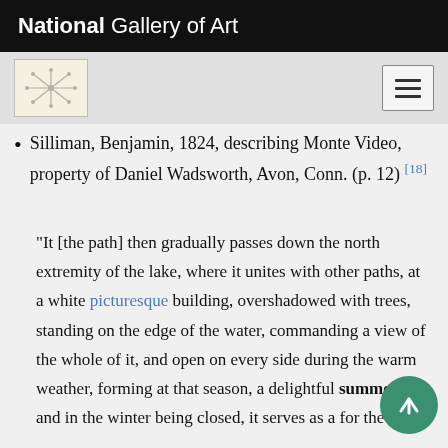National Gallery of Art
Silliman, Benjamin, 1824, describing Monte Video, property of Daniel Wadsworth, Avon, Conn. (p. 12) [18]
“It [the path] then gradually passes down the north extremity of the lake, where it unites with other paths, at a white picturesque building, overshadowed with trees, standing on the edge of the water, commanding a view of the whole of it, and open on every side during the warm weather, forming at that season, a delightful summerh[ouse,] and in the winter being closed, it serves as a [shelter] for the boat.”